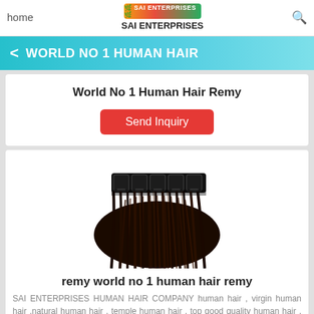home | SAI ENTERPRISES
WORLD NO 1 HUMAN HAIR
World No 1 Human Hair Remy
Send Inquiry
[Figure (photo): Clip-in hair extensions with dark brown/black straight hair, showing multiple clips at the top and a bundle of straight hair falling down]
remy world no 1 human hair remy
SAI ENTERPRISES HUMAN HAIR COMPANY human hair , virgin human hair ,natural human hair , temple human hair , top good quality human hair , HD QUALITY